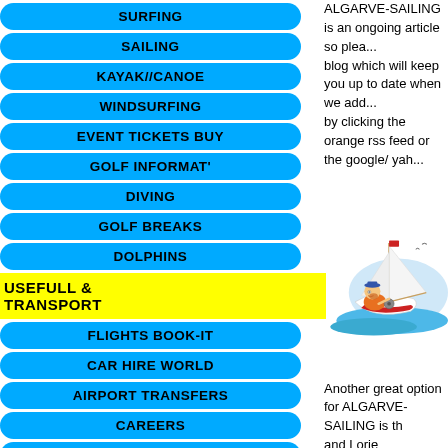ALGARVE-SAILING is an ongoing article so please subscribe to our blog which will keep you up to date when we add to this page by clicking the orange rss feed or the google/ yah
SURFING
SAILING
KAYAK//CANOE
WINDSURFING
EVENT TICKETS BUY
GOLF INFORMAT'
DIVING
GOLF BREAKS
DOLPHINS
USEFULL & TRANSPORT
FLIGHTS BOOK-IT
CAR HIRE WORLD
AIRPORT TRANSFERS
CAREERS
TRAVEL GOODS
CURRENCY
[Figure (illustration): Cartoon illustration of a sailor on a sailboat on water]
Another great option for ALGARVE-SAILING is th... and Lorie Lightfoot.Very experienced and able sa... Yachtmaster ocean qualified.In other words vasth
They set up the Faro sailing school about seven... apparently ran the Ibiza sailing school for five yea... the ideal location for their new sailing school.Far... for its location close to Faro international airport.T... wishing to sail these lovely waters.In their words